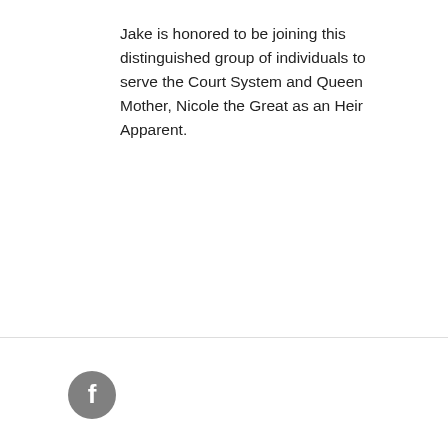Jake is honored to be joining this distinguished group of individuals to serve the Court System and Queen Mother, Nicole the Great as an Heir Apparent.
[Figure (logo): Facebook icon — a circular grey button with a white lowercase letter f in the center]